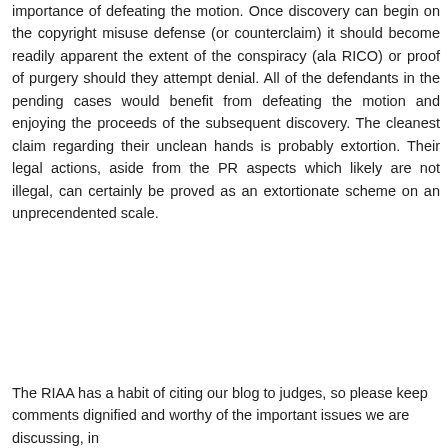importance of defeating the motion. Once discovery can begin on the copyright misuse defense (or counterclaim) it should become readily apparent the extent of the conspiracy (ala RICO) or proof of purgery should they attempt denial. All of the defendants in the pending cases would benefit from defeating the motion and enjoying the proceeds of the subsequent discovery. The cleanest claim regarding their unclean hands is probably extortion. Their legal actions, aside from the PR aspects which likely are not illegal, can certainly be proved as an extortionate scheme on an unprecendented scale.
Reply
The RIAA has a habit of citing our blog to judges, so please keep comments dignified and worthy of the important issues we are discussing, in